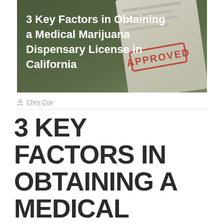[Figure (photo): Hero image with dark olive/green background showing a document with an APPROVED red stamp. White bold text reads '3 Key Factors in Obtaining a Medical Marijuana Dispensary License in California'.]
Chris Cox
3 KEY FACTORS IN OBTAINING A MEDICAL MARIJUANA DISPENSARY LICENSE IN CALIFORNIA